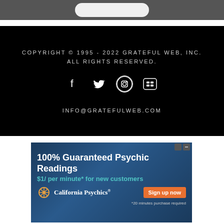[Figure (screenshot): Top gray bar portion of a website header]
COPYRIGHT © 1995 - 2022 GRATEFUL WEB, INC. ALL RIGHTS RESERVED.
INFO@GRATEFULWEB.COM
[Figure (infographic): Advertisement banner: 100% Guaranteed Psychic Readings, $1/ per minute* for new customers, California Psychics, Sign up now, *20 minutes purchase required]